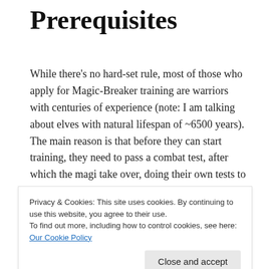Prerequisites
While there's no hard-set rule, most of those who apply for Magic-Breaker training are warriors with centuries of experience (note: I am talking about elves with natural lifespan of ~6500 years). The main reason is that before they can start training, they need to pass a combat test, after which the magi take over, doing their own tests to see if the candidate has at least some understanding of magic. If not, then that's where the attempt ends
Privacy & Cookies: This site uses cookies. By continuing to use this website, you agree to their use.
To find out more, including how to control cookies, see here: Our Cookie Policy
of magic to better understand the forces he or